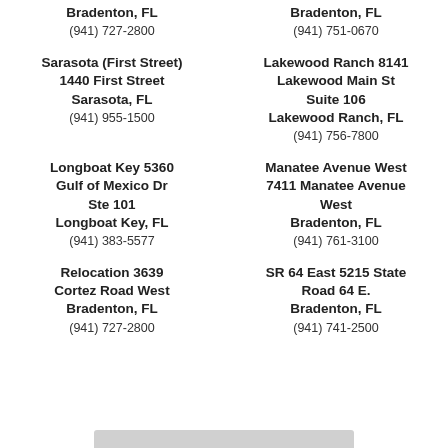Bradenton, FL
(941) 727-2800
Bradenton, FL
(941) 751-0670
Sarasota (First Street)
1440 First Street
Sarasota, FL
(941) 955-1500
Lakewood Ranch 8141
Lakewood Main St
Suite 106
Lakewood Ranch, FL
(941) 756-7800
Longboat Key 5360
Gulf of Mexico Dr
Ste 101
Longboat Key, FL
(941) 383-5577
Manatee Avenue West
7411 Manatee Avenue West
Bradenton, FL
(941) 761-3100
Relocation 3639
Cortez Road West
Bradenton, FL
(941) 727-2800
SR 64 East 5215 State Road 64 E.
Bradenton, FL
(941) 741-2500